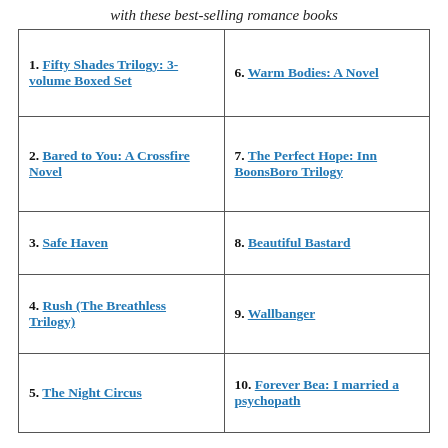with these best-selling romance books
| 1. Fifty Shades Trilogy: 3-volume Boxed Set | 6. Warm Bodies: A Novel |
| 2. Bared to You: A Crossfire Novel | 7. The Perfect Hope: Inn BoonsBoro Trilogy |
| 3. Safe Haven | 8. Beautiful Bastard |
| 4. Rush (The Breathless Trilogy) | 9. Wallbanger |
| 5. The Night Circus | 10. Forever Bea: I married a psychopath |